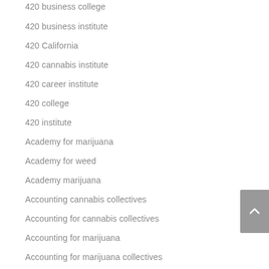420 business college
420 business institute
420 California
420 cannabis institute
420 career institute
420 college
420 institute
Academy for marijuana
Academy for weed
Academy marijuana
Accounting cannabis collectives
Accounting for cannabis collectives
Accounting for marijuana
Accounting for marijuana collectives
Accounting marijuana collectives